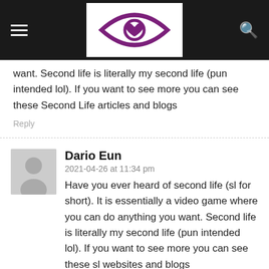Navigation header with logo
want. Second life is literally my second life (pun intended lol). If you want to see more you can see these Second Life articles and blogs
Reply
Dario Eun
2021-04-26 at 11:34 pm
Have you ever heard of second life (sl for short). It is essentially a video game where you can do anything you want. Second life is literally my second life (pun intended lol). If you want to see more you can see these sl websites and blogs
Reply
pod
2021-08-18 at 10:27 am
It's an amazing article designed for all the web people;